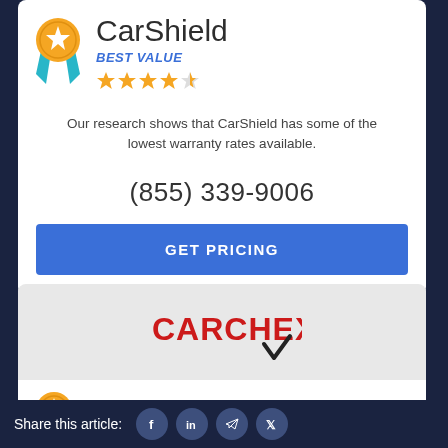[Figure (logo): CarShield logo with medal/award badge icon — gold circle with white star, blue ribbon, orange background]
CarShield
BEST VALUE
[Figure (other): 4.5 star rating shown as yellow/gold stars]
Our research shows that CarShield has some of the lowest warranty rates available.
(855) 339-9006
GET PRICING
[Figure (logo): CARCHEX logo with checkmark — red bold text with black checkmark below the X]
[Figure (logo): Award medal icon — gold circle with white star, orange background]
CARCHEX
RUNNER UP: BEST PROVIDER
Share this article: